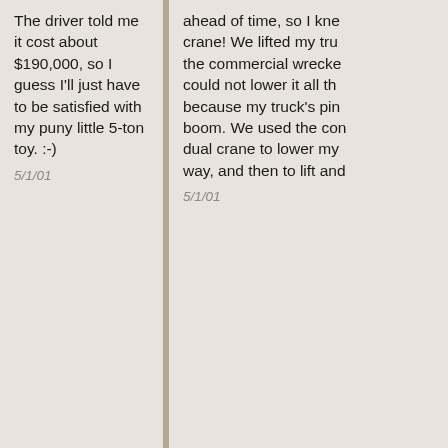The driver told me it cost about $190,000, so I guess I'll just have to be satisfied with my puny little 5-ton toy. :-)
5/1/01
ahead of time, so I kne crane! We lifted my tru the commercial wrecke could not lower it all th because my truck's pin boom. We used the con dual crane to lower my way, and then to lift an
5/1/01
[Figure (photo): Military crane/wrecker truck hitched up at Mark's Green Truck Ranch with an incomplete M1022 dolly set, photographed outdoors under blue sky.]
At work on Mark's Green Truck Ranch, hitched up to an incomplete M1022 dolly set. Photo courtesy of Matt Tait.
[Figure (photo): Military vehicle towing an M1022 dolly, photographed outdoors on gravel/dirt terrain.]
Towing the M1022 dolly Photo courtesy of Matt T
3/16/02